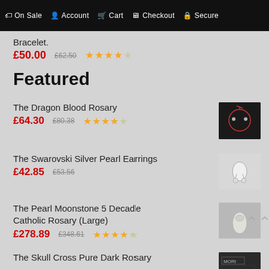On Sale | Account | Cart | Checkout | Secure
Bracelet. £50.00 £62.50 ★★★★★
Featured
The Dragon Blood Rosary £64.30 £80.38 ★★★★★
The Swarovski Silver Pearl Earrings £42.85 £53.56
The Pearl Moonstone 5 Decade Catholic Rosary (Large) £278.89 £348.61 ★★★★★
The Skull Cross Pure Dark Rosary